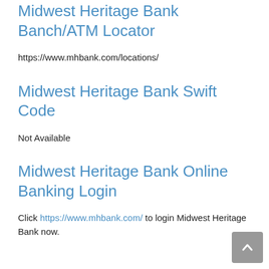Midwest Heritage Bank Banch/ATM Locator
https://www.mhbank.com/locations/
Midwest Heritage Bank Swift Code
Not Available
Midwest Heritage Bank Online Banking Login
Click https://www.mhbank.com/ to login Midwest Heritage Bank now.